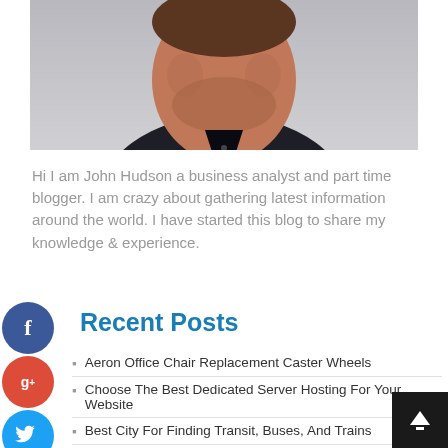[Figure (photo): Portrait photo of a man (John Hudson) in a dark shirt against a light grey background, cropped at neck/shoulders]
Hi I am John Hudson a business analyst and part time blogger. I am crazy about gathering latest information around the world. I have started this blog to share my knowledge & experience.
Recent Posts
Aeron Office Chair Replacement Caster Wheels
Choose The Best Dedicated Server Hosting For Your Website
Best City For Finding Transit, Buses, And Trains
What Is Microneedling And What Can It Do For Your